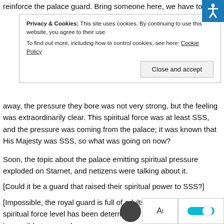reinforce the palace guard. Bring someone here, we have to
Privacy & Cookies: This site uses cookies. By continuing to use this website, you agree to their use.
To find out more, including how to control cookies, see here: Cookie Policy
[Close and accept]
away, the pressure they bore was not very strong, but the feeling was extraordinarily clear. This spiritual force was at least SSS, and the pressure was coming from the palace; it was known that His Majesty was SSS, so what was going on now?
Soon, the topic about the palace emitting spiritual pressure exploded on Starnet, and netizens were talking about it.
[Could it be a guard that raised their spiritual power to SSS?]
[Impossible, the royal guard is full of adults, spiritual force level has been determined, it is impossible to upgrade downgrade is more likely.]